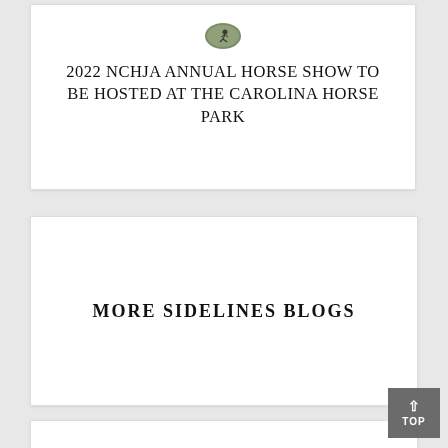[Figure (logo): Small oval logo with horse and rider illustration]
2022 NCHJA ANNUAL HORSE SHOW TO BE HOSTED AT THE CAROLINA HORSE PARK
MORE SIDELINES BLOGS